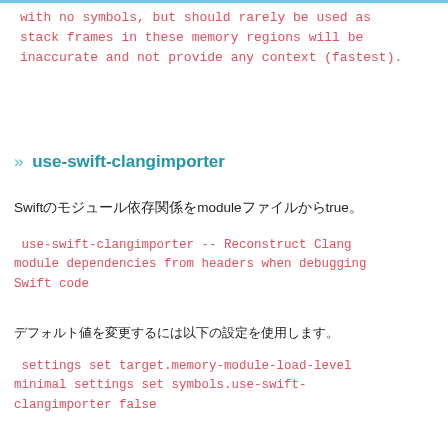with no symbols, but should rarely be used as stack frames in these memory regions will be inaccurate and not provide any context (fastest).
» use-swift-clangimporter
Swift のモジュール依存関係を module ファイルから true。
use-swift-clangimporter -- Reconstruct Clang module dependencies from headers when debugging Swift code
デフォルト値を変更するには以下の設定を使用します。
settings set target.memory-module-load-level minimal settings set symbols.use-swift-clangimporter false